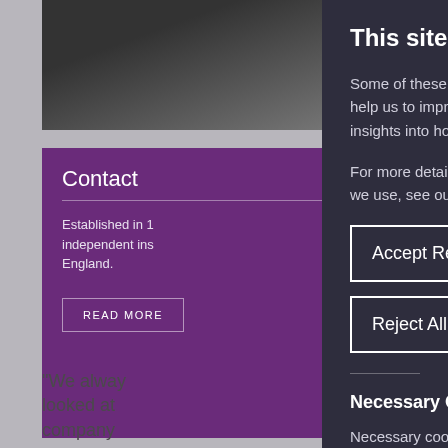[Figure (screenshot): Screenshot of a website partially obscured by a cookie consent overlay. Left side shows a purple contact box and a quote. Right side is the dark cookie consent panel.]
This site uses cookies
Some of these cookies are essential, wh help us to improve your experience by p insights into how the site is being used.
For more detailed information about the we use, see our Cookie Policy
Accept Recommended Settings
Reject All
Necessary Cookies
Necessary cookies enable core